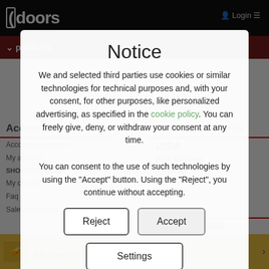[Figure (screenshot): Background of a website called 'doors' with a dark overlay and a cookie consent modal dialog in the foreground]
Notice
We and selected third parties use cookies or similar technologies for technical purposes and, with your consent, for other purposes, like personalized advertising, as specified in the cookie policy. You can freely give, deny, or withdraw your consent at any time. You can consent to the use of such technologies by using the "Accept" button. Using the "Reject", you continue without accepting.
Reject
Accept
Settings